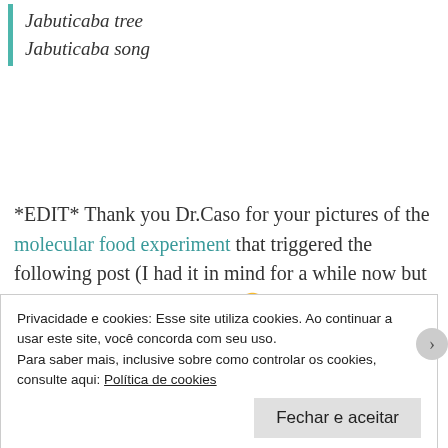Jabuticaba tree
Jabuticaba song
*EDIT* Thank you Dr.Caso for your pictures of the molecular food experiment that triggered the following post (I had it in mind for a while now but I needed a kick in the butt!) 😉
Privacidade e cookies: Esse site utiliza cookies. Ao continuar a usar este site, você concorda com seu uso. Para saber mais, inclusive sobre como controlar os cookies, consulte aqui: Política de cookies
Fechar e aceitar